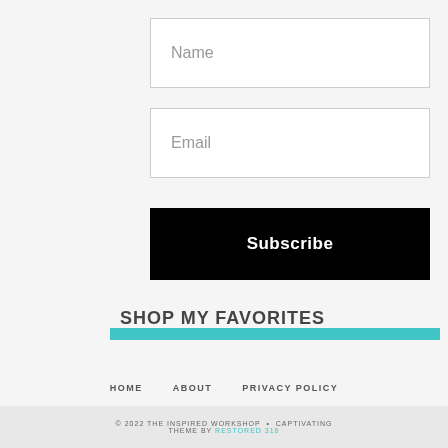[Figure (other): Text input field with placeholder 'Name']
[Figure (other): Text input field with placeholder 'Email']
[Figure (other): Black subscribe button with white bold text 'Subscribe']
SHOP MY FAVORITES
HOME   ABOUT   PRIVACY POLICY
© 2022 THE INSPIRED WORKSHOP • CAPTIVATING THEME BY RESTORED 316